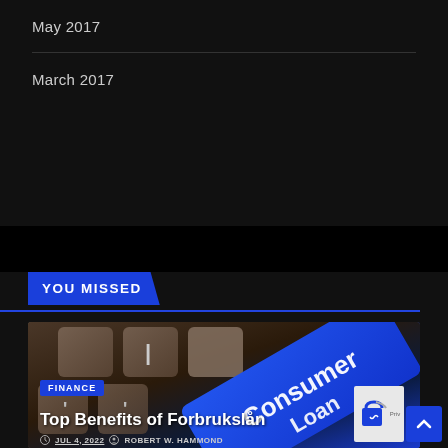May 2017
March 2017
YOU MISSED
[Figure (photo): Close-up photo of keyboard keys with a blue 'Consumer Loan' key prominently displayed]
FINANCE
Top Benefits of Forbrukslån
JUL 4, 2022   ROBERT W. HAMMOND